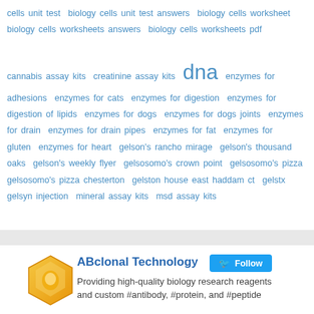cells unit test biology cells unit test answers biology cells worksheet biology cells worksheets answers biology cells worksheets pdf cannabis assay kits creatinine assay kits dna enzymes for adhesions enzymes for cats enzymes for digestion enzymes for digestion of lipids enzymes for dogs enzymes for dogs joints enzymes for drain enzymes for drain pipes enzymes for fat enzymes for gluten enzymes for heart gelson's rancho mirage gelson's thousand oaks gelson's weekly flyer gelsosomo's crown point gelsosomo's pizza gelsosomo's pizza chesterton gelston house east haddam ct gelstx gelsyn injection mineral assay kits msd assay kits
[Figure (logo): Hexagonal yellow/gold logo icon for ABclonal Technology]
ABclonal Technology  Follow  Providing high-quality biology research reagents and custom #antibody, #protein, and #peptide